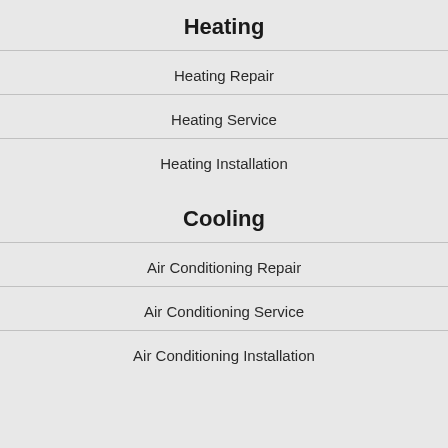Heating
Heating Repair
Heating Service
Heating Installation
Cooling
Air Conditioning Repair
Air Conditioning Service
Air Conditioning Installation